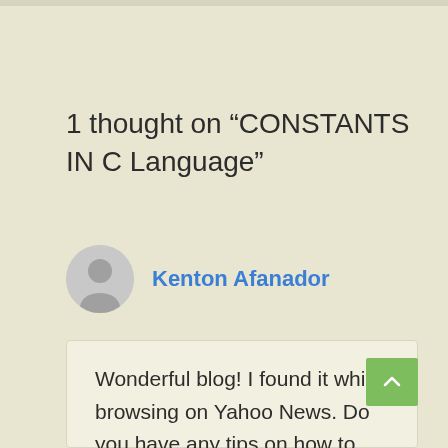1 thought on “CONSTANTS IN C Language”
Kenton Afanador
Wonderful blog! I found it while browsing on Yahoo News. Do you have any tips on how to get